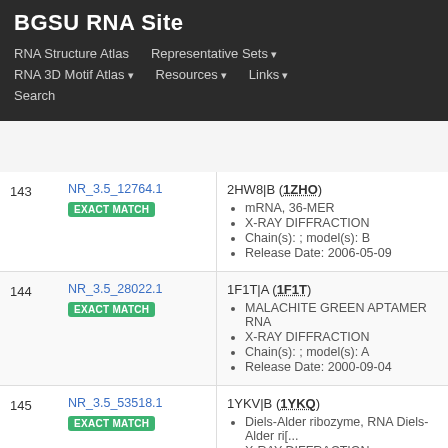BGSU RNA Site
RNA Structure Atlas | Representative Sets ▾ | RNA 3D Motif Atlas ▾ | Resources ▾ | Links ▾ | Search
| # | ID | Structure Info |
| --- | --- | --- |
| 143 | NR_3.5_12764.1
EXACT MATCH | 2HW8|B (1ZHO)
mRNA, 36-MER
X-RAY DIFFRACTION
Chain(s): ; model(s): B
Release Date: 2006-05-09 |
| 144 | NR_3.5_28022.1
EXACT MATCH | 1F1T|A (1F1T)
MALACHITE GREEN APTAMER RNA
X-RAY DIFFRACTION
Chain(s): ; model(s): A
Release Date: 2000-09-04 |
| 145 | NR_3.5_53518.1
EXACT MATCH | 1YKV|B (1YKQ)
Diels-Alder ribozyme, RNA Diels-Alder ri[...
X-RAY DIFFRACTION |